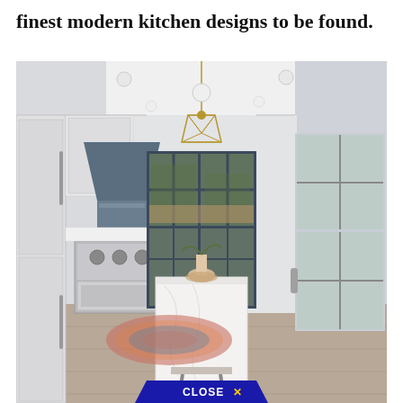finest modern kitchen designs to be found.
[Figure (photo): Modern white kitchen interior with blue-grey range hood, stainless steel appliances, marble island, geometric pendant light, black-framed French doors, and colorful area rug on hardwood floor.]